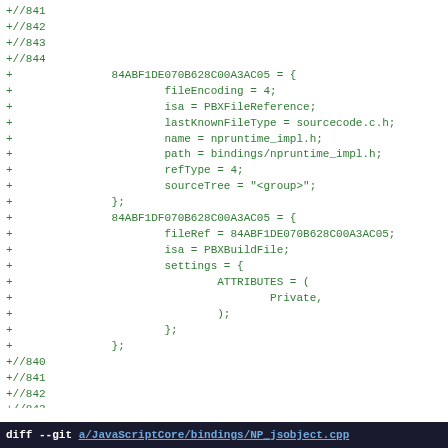+//841
+//842
+//843
+//844
+			84ABF1DE070B628C00A3AC05 = {
+					fileEncoding = 4;
+					isa = PBXFileReference;
+					lastKnownFileType = sourcecode.c.h;
+					name = npruntime_impl.h;
+					path = bindings/npruntime_impl.h;
+					refType = 4;
+					sourceTree = "<group>";
+				};
+				84ABF1DF070B628C00A3AC05 = {
+					fileRef = 84ABF1DE070B628C00A3AC05;
+					isa = PBXBuildFile;
+					settings = {
+						ATTRIBUTES = (
+								Private,
+						);
+					};
+				};
+//840
+//841
+//842
+//843
+//844
 //930
 //931
 //932
diff --git a/JavaScriptCore/bindings/NP_jsobject.cpp